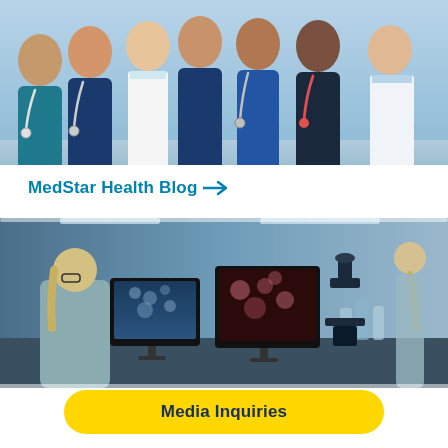[Figure (photo): Group photo of diverse medical professionals in blue scrubs and white lab coats, smiling, stethoscopes visible]
MedStar Health Blog →
[Figure (photo): Female scientist/researcher in a laboratory looking at microscope images on monitors, microscope in foreground, another researcher in background]
Media Inquiries